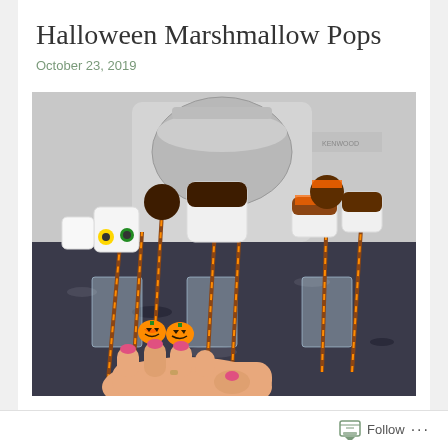Halloween Marshmallow Pops
October 23, 2019
[Figure (photo): A hand holding Halloween marshmallow pops on striped sticks, decorated with pumpkin charms, chocolate, and Halloween sprinkles, displayed in glass cups on a granite countertop with a Kenwood mixer in the background.]
Follow ...